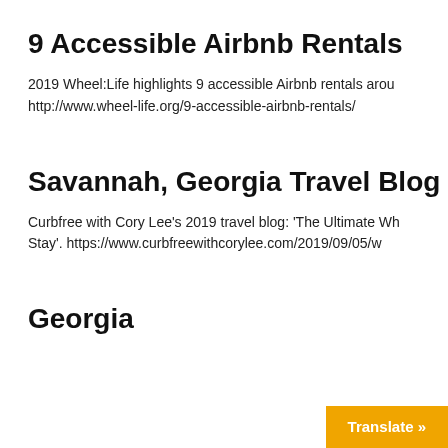9 Accessible Airbnb Rentals
2019 Wheel:Life highlights 9 accessible Airbnb rentals arou... http://www.wheel-life.org/9-accessible-airbnb-rentals/
Savannah, Georgia Travel Blog
Curbfree with Cory Lee’s 2019 travel blog: ‘The Ultimate Wh... Stay’. https://www.curbfreewithcorylee.com/2019/09/05/w...
Georgia
Translate »